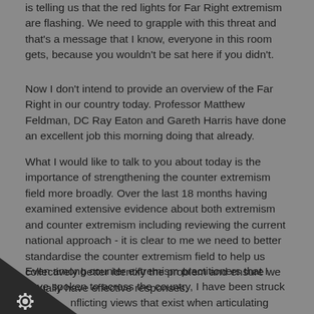is telling us that the red lights for Far Right extremism are flashing. We need to grapple with this threat and that's a message that I know, everyone in this room gets, because you wouldn't be sat here if you didn't.
Now I don't intend to provide an overview of the Far Right in our country today. Professor Matthew Feldman, DC Ray Eaton and Gareth Harris have done an excellent job this morning doing that already.
What I would like to talk to you about today is the importance of strengthening the counter extremism field more broadly. Over the last 18 months having examined extensive evidence about both extremism and counter extremism including reviewing the current national approach - it is clear to me we need to better standardise the counter extremism field to help us collectively better identify the problem and ensure we actually have effective responses.
Even among counter extremism practitioners that I have spoken to across the country, I have been struck by the conflicting views that exist when articulating what they as extremism, what are the behaviours we are about, what are the outcomes we are working